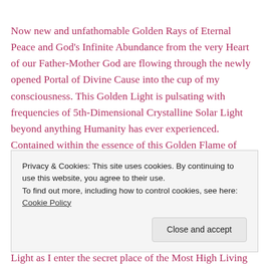Now new and unfathomable Golden Rays of Eternal Peace and God's Infinite Abundance from the very Heart of our Father-Mother God are flowing through the newly opened Portal of Divine Cause into the cup of my consciousness. This Golden Light is pulsating with frequencies of 5th-Dimensional Crystalline Solar Light beyond anything Humanity has ever experienced. Contained within the essence of this Golden Flame of
Privacy & Cookies: This site uses cookies. By continuing to use this website, you agree to their use.
To find out more, including how to control cookies, see here: Cookie Policy
Light as I enter the secret place of the Most High Living